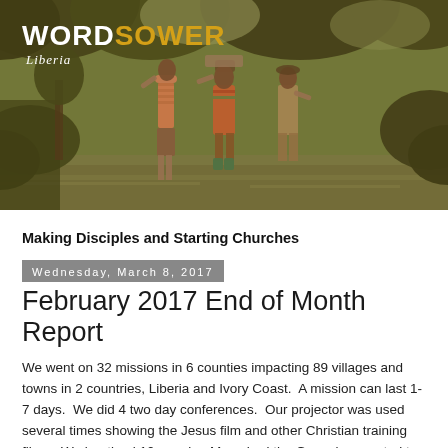[Figure (photo): Header image showing three people walking through a river in a jungle/forest setting in Liberia. The WordSower Liberia logo is overlaid on the top-left of the image.]
Making Disciples and Starting Churches
Wednesday, March 8, 2017
February 2017 End of Month Report
We went on 32 missions in 6 counties impacting 89 villages and towns in 2 countries, Liberia and Ivory Coast.  A mission can last 1-7 days.  We did 4 two day conferences.  Our projector was used several times showing the Jesus film and other Christian training films.  We baptized 10 people.  Many had the Gospel presented to